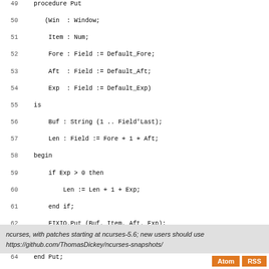Code listing lines 49-75 showing Ada procedure Put implementations and end of Terminal_Interface.Curses.Text_IO.Fixed_IO package
ncurses, with patches starting at ncurses-5.6; new users should use https://github.com/ThomasDickey/ncurses-snapshots/